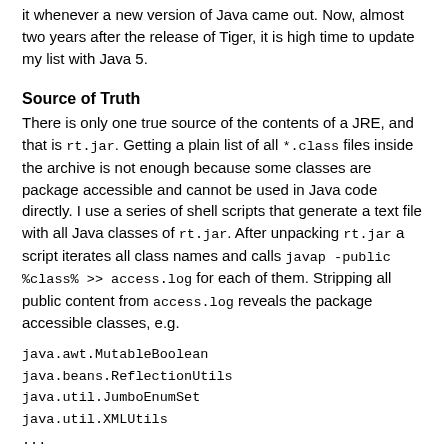it whenever a new version of Java came out. Now, almost two years after the release of Tiger, it is high time to update my list with Java 5.
Source of Truth
There is only one true source of the contents of a JRE, and that is rt.jar. Getting a plain list of all *.class files inside the archive is not enough because some classes are package accessible and cannot be used in Java code directly. I use a series of shell scripts that generate a text file with all Java classes of rt.jar. After unpacking rt.jar a script iterates all class names and calls javap -public %class% >> access.log for each of them. Stripping all public content from access.log reveals the package accessible classes, e.g.
java.awt.MutableBoolean
java.beans.ReflectionUtils
java.util.JumboEnumSet
java.util.XMLUtils
...
The list of new classes is the list of all classes found in